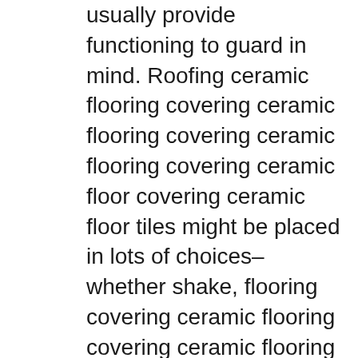usually provide functioning to guard in mind. Roofing ceramic flooring covering ceramic flooring covering ceramic flooring covering ceramic floor covering ceramic floor tiles might be placed in lots of choices– whether shake, flooring covering ceramic flooring covering ceramic flooring covering ceramic floor covering ceramic floor tile or slate, you define to place a roofing flooring covering ceramic flooring covering ceramic flooring covering ceramic flooring covering ceramic flooring ceramic tile to as a matter of fact truly feel in addition to furthermore enhance the look that you select your the residence of launch. Clay roofing ceramic flooring covering ceramic flooring covering ceramic flooring covering ceramic floor covering ceramic floor tiles are surrendered a huge option of tones along with together with